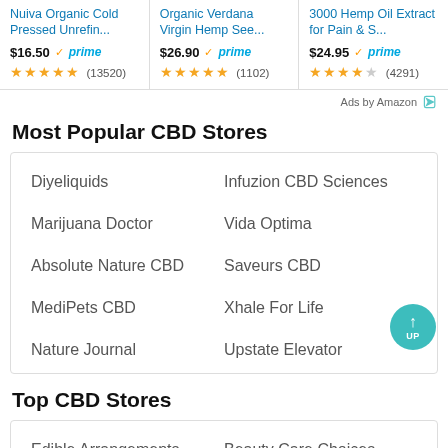Nuiva Organic Cold Pressed Unrefin... $16.50 prime (13520)
Organic Verdana Virgin Hemp See... $26.90 prime (1102)
3000 Hemp Oil Extract for Pain & S... $24.95 prime (4291)
Ads by Amazon
Most Popular CBD Stores
Diyeliquids
Infuzion CBD Sciences
Marijuana Doctor
Vida Optima
Absolute Nature CBD
Saveurs CBD
MediPets CBD
Xhale For Life
Nature Journal
Upstate Elevator
Top CBD Stores
Edible Arrangements
Beauty Care Choices